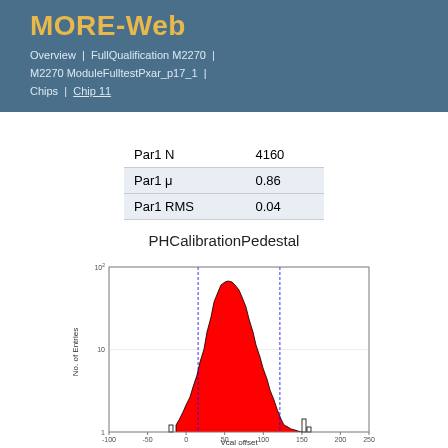MORE-Web
Overview | FullQualification M2270 | M2270 ModuleFulltestPxar_p17_1 | Chips | Chip 11
|  |  |
| --- | --- |
| Par1 N | 4160 |
| Par1 μ | 0.86 |
| Par1 RMS | 0.04 |
PHCalibrationPedestal
[Figure (histogram): Histogram with log y-axis showing distribution of Vcal offset values. Red filled histogram with black outline, two blue dashed vertical lines. Peak near x=80-100 at about 10^2. Y-axis is logarithmic from 1 to 10^2. X-axis ranges from -100 to 250.]